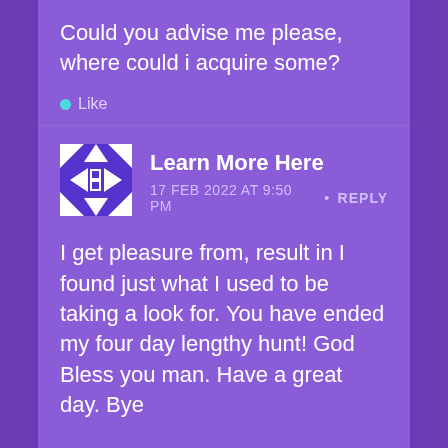Could you advise me please, where could i acquire some?
Like
Learn More Here
17 FEB 2022 AT 9:50 PM • REPLY
I get pleasure from, result in I found just what I used to be taking a look for. You have ended my four day lengthy hunt! God Bless you man. Have a great day. Bye